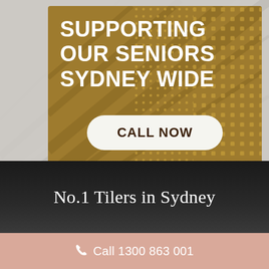SUPPORTING OUR SENIORS SYDNEY WIDE
CALL NOW
No.1 Tilers in Sydney
Call 1300 863 001